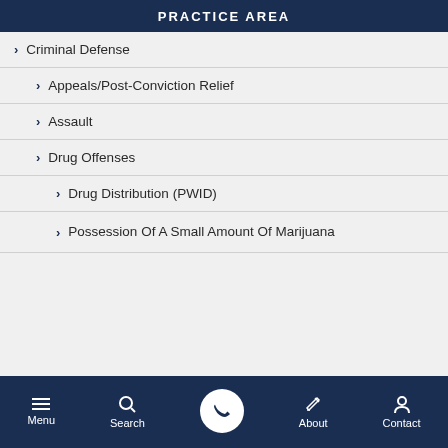PRACTICE AREA
> Criminal Defense
> Appeals/Post-Conviction Relief
> Assault
> Drug Offenses
> Drug Distribution (PWID)
> Possession Of A Small Amount Of Marijuana
Menu  Search  [phone]  About  Contact